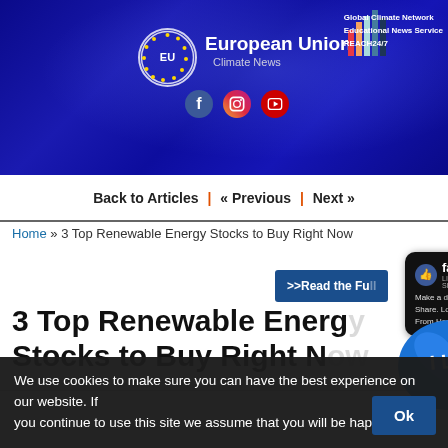[Figure (screenshot): European Union Climate News website header with blue gradient background, EU logo circle, social media icons (Facebook, Instagram, YouTube), and Global Climate Network / Educational News Service / REACH24/7 branding with rainbow bar chart icon]
Back to Articles | « Previous | Next »
Home » 3 Top Renewable Energy Stocks to Buy Right Now
[Figure (screenshot): Read the Full article button (dark blue) and Facebook popup overlay with like icon, speech bubble text 'Make a difference. Share. Love. Care. From Here.' and I Love sticker]
3 Top Renewable Energy Stocks to Buy Right Now
We use cookies to make sure you can have the best experience on our website. If you continue to use this site we assume that you will be happy with it.